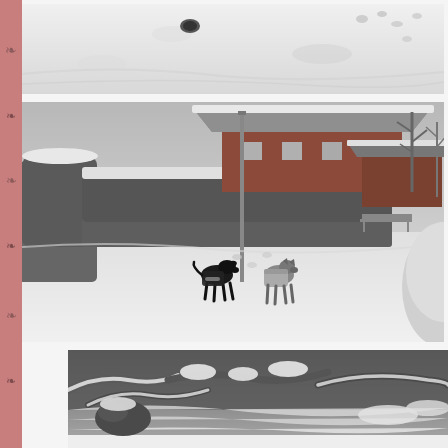[Figure (photo): Close-up of snow-covered ground with footprints and tracks in white snow, top portion of page]
[Figure (photo): Two greyhound dogs wearing coats walking away across a snow-covered open area, with snow-laden hedges, residential buildings with snow-covered roofs, and bare trees in the background. Black and white photo.]
[Figure (photo): Snow-covered garden scene with snow-laden branches and shrubs, partial view at bottom of page]